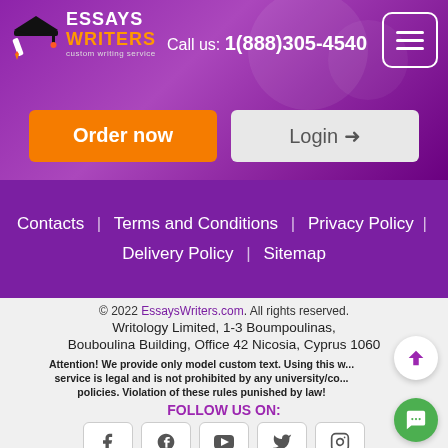[Figure (logo): Essays Writers custom writing service logo with graduation cap icon]
Call us: 1(888)305-4540
[Figure (other): Hamburger menu button (three horizontal lines) in white rounded square]
Order now
Login
Contacts | Terms and Conditions | Privacy Policy | Delivery Policy | Sitemap
© 2022 EssaysWriters.com. All rights reserved.
Writology Limited, 1-3 Boumpoulinas, Bouboulina Building, Office 42 Nicosia, Cyprus 1060
Attention! We provide only model custom text. Using this writing service is legal and is not prohibited by any university/college policies. Violation of these rules punished by law!
FOLLOW US ON:
[Figure (illustration): Row of social media icons: Facebook, Pinterest, YouTube, Twitter, Instagram]